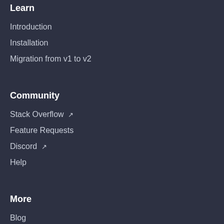Learn
Introduction
Installation
Migration from v1 to v2
Community
Stack Overflow
Feature Requests
Discord
Help
More
Blog